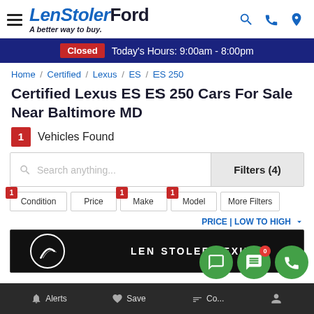LenStolerFord - A better way to buy.
Closed  Today's Hours: 9:00am - 8:00pm
Home / Certified / Lexus / ES / ES 250
Certified Lexus ES ES 250 Cars For Sale Near Baltimore MD
1 Vehicles Found
Search anything...  Filters (4)
1 Condition
Price
1 Make
1 Model
More Filters
PRICE | LOW TO HIGH
[Figure (screenshot): Len Stoler Lexus dealer card with logo and dark background]
Alerts  Save  Compare  (icons)